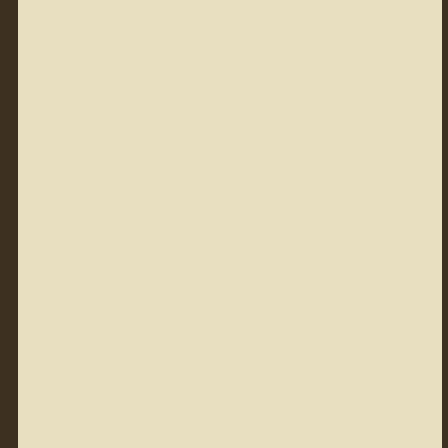provided me with a little incentive to his... our group is sorely lacking. So I added superb Stadden figures and H1 horses, a Horse Regiment) and a squadron of R enough as the French continued their ma BAR games. I don't believe that the B partially explained by the fact that we ha failed to reverse history. Nevertheless, reinforcements in the future in order to im
[Figure (photo): Wargame miniatures scene: rows of painted military infantry figures on green grass terrain boards, with model trees and a half-timbered building in the background, set against a blue sky backdrop.]